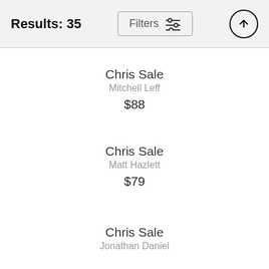Results: 35
Filters
Chris Sale
Mitchell Leff
$88
Chris Sale
Matt Hazlett
$79
Chris Sale
Jonathan Daniel